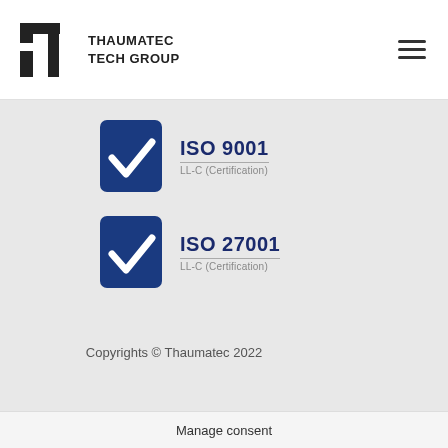[Figure (logo): Thaumatec Tech Group logo with stylized T lettermark and company name]
[Figure (infographic): ISO 9001 certification badge with blue checkmark and LL-C (Certification) text]
[Figure (infographic): ISO 27001 certification badge with blue checkmark and LL-C (Certification) text]
Copyrights © Thaumatec 2022
Manage consent